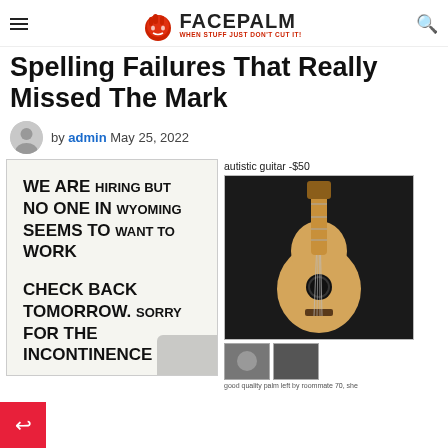FACEPALM - WHEN STUFF JUST DON'T CUT IT!
Spelling Failures That Really Missed The Mark
by admin  May 25, 2022
[Figure (photo): Sign on a door reading: WE ARE HIRING BUT NO ONE IN WYOMING SEEMS TO WANT TO WORK. CHECK BACK TOMORROW. SORRY FOR THE INCONTINENCE]
[Figure (photo): Craigslist listing for 'autistic guitar -$50' showing an acoustic guitar on a dark background, with small thumbnail images below and caption 'good quality palm left by roommate 70, she']